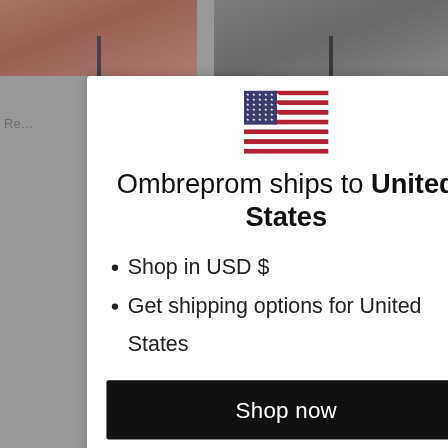[Figure (screenshot): Website background showing product images of red dresses and a modal dialog overlay. The modal contains a US flag, shipping information, and a shop now button.]
Ombreprom ships to United States
Shop in USD $
Get shipping options for United States
Shop now
Change shipping country
INFR
About
Conta
Affilia
Our Blog
Testimonial
Measurement Guide
Payment